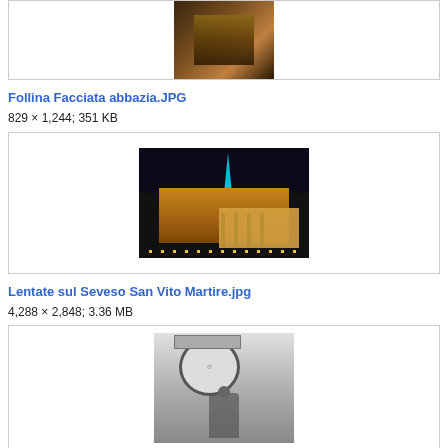[Figure (photo): Partial view of interior of an abbey, dark brown/golden hues]
Follina Facciata abbazia.JPG
829 × 1,244; 351 KB
[Figure (photo): Night photograph of Lentate sul Seveso San Vito Martire church illuminated in golden and teal lighting]
Lentate sul Seveso San Vito Martire.jpg
4,288 × 2,848; 3.36 MB
[Figure (photo): Black and white photograph partially visible, showing a clock or sign and a figure]